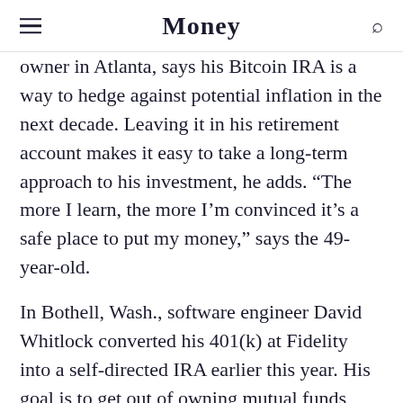Money
owner in Atlanta, says his Bitcoin IRA is a way to hedge against potential inflation in the next decade. Leaving it in his retirement account makes it easy to take a long-term approach to his investment, he adds. “The more I learn, the more I’m convinced it’s a safe place to put my money,” says the 49-year-old.
In Bothell, Wash., software engineer David Whitlock converted his 401(k) at Fidelity into a self-directed IRA earlier this year. His goal is to get out of owning mutual funds